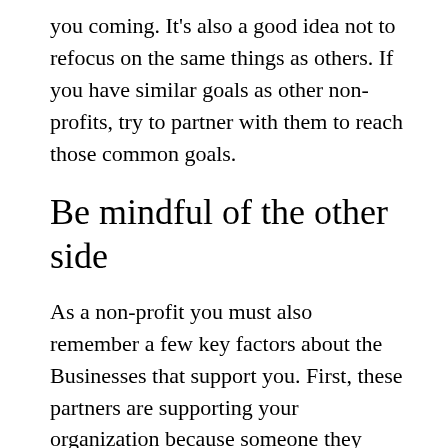you coming. It's also a good idea not to refocus on the same things as others. If you have similar goals as other non-profits, try to partner with them to reach those common goals.
Be mindful of the other side
As a non-profit you must also remember a few key factors about the Businesses that support you. First, these partners are supporting your organization because someone they trust asked them or because they directly believe in the organization. Remember to nurture this relationship every chance you get. Let them know that you appreciate them for helping your non-profit. Make them know that they are getting